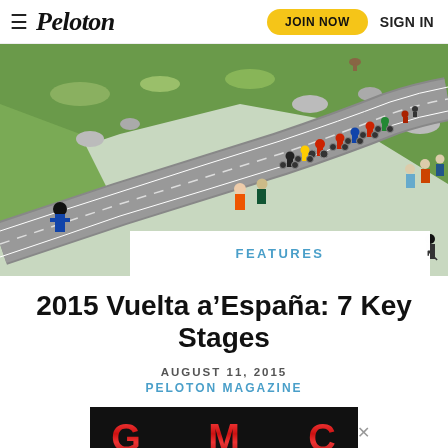≡ Peloton  JOIN NOW  SIGN IN
[Figure (photo): Cyclists racing up a mountain road at the Vuelta a España, with green hillsides, rocks, and spectators visible alongside the winding road.]
FEATURES
2015 Vuelta a'España: 7 Key Stages
AUGUST 11, 2015
PELOTON MAGAZINE
[Figure (logo): GMC advertisement banner with red metallic 3D lettering on black background.]